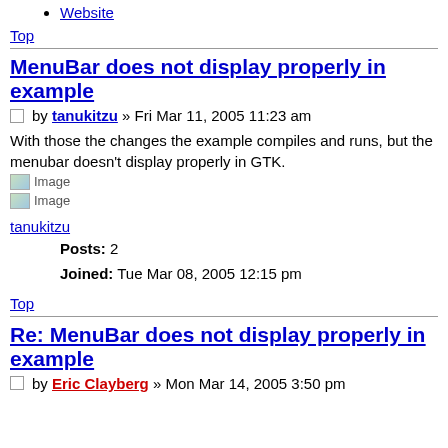Website
Top
MenuBar does not display properly in example
by tanukitzu » Fri Mar 11, 2005 11:23 am
With those the changes the example compiles and runs, but the menubar doesn't display properly in GTK.
[Figure (other): Image placeholder icon 1]
[Figure (other): Image placeholder icon 2]
tanukitzu
Posts: 2
Joined: Tue Mar 08, 2005 12:15 pm
Top
Re: MenuBar does not display properly in example
by Eric Clayberg » Mon Mar 14, 2005 3:50 pm